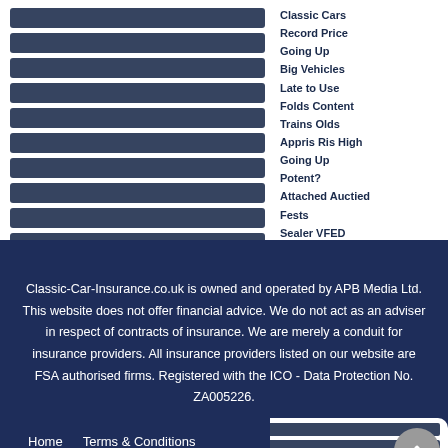[Figure (screenshot): Website content area showing redacted/blurred text blocks on left side and navigation link text on right side including: Classic Cars, Record Price, Going Up, Big Vehicles, Late to Use, Folds Content, Trains Olds, Appris Ris High, Going Up, Potent?, Attached Auctied, Rests, Sealer VFED, Astioneted, 01 BCE On, Damaged?, Popes Tati]
Home   Terms & Conditions
Privacy & Security   Contact
Classic-Car-Insurance.co.uk is owned and operated by APB Media Ltd. This website does not offer financial advice. We do not act as an adviser in respect of contracts of insurance. We are merely a conduit for insurance providers. All insurance providers listed on our website are FSA authorised firms. Registered with the ICO - Data Protection No. ZA005226.